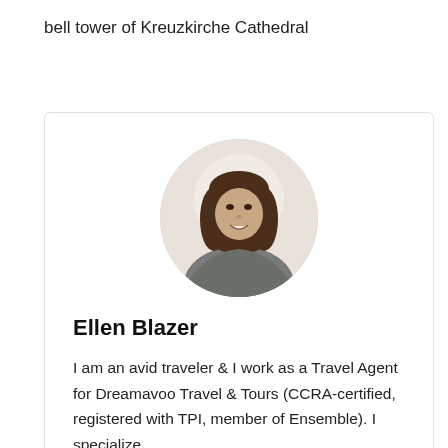bell tower of Kreuzkirche Cathedral
[Figure (photo): Circular profile photo of Ellen Blazer, a young woman with long brown hair, smiling, wearing a grey top]
Ellen Blazer
I am an avid traveler & I work as a Travel Agent for Dreamavoo Travel & Tours (CCRA-certified, registered with TPI, member of Ensemble). I specialize